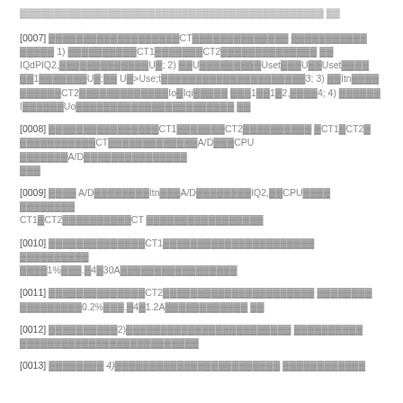[0007] ...CT... 1) ...CT1...CT2... IQdPIQ2,...U...; 2) ...U...Uset...U...Uset... ...1...U...; U<>Use;t...3; 3) ...Itn... ...CT2...Io...Iqi... ...1...1...2,...4; 4) ... I...Uo... ...
[0008] ...CT1...CT2... .CT1.CT2. ...CT...A/D...CPU ...A/D... ...
[0009] ... A/D...Itn...A/D...IQ2,...CPU... ... CT1.CT2...CT ...
[0010] ...CT1... ... ...1%....4.30A...
[0011] ...CT2... ... ...0.2%....4.1.2A... ...
[0012] ...2)... ... ...
[0013] ...4)... ...